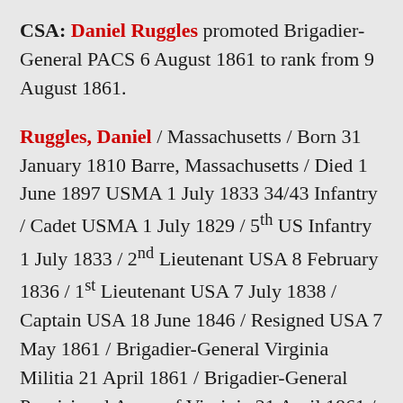CSA: Daniel Ruggles promoted Brigadier-General PACS 6 August 1861 to rank from 9 August 1861.
Ruggles, Daniel / Massachusetts / Born 31 January 1810 Barre, Massachusetts / Died 1 June 1897 USMA 1 July 1833 34/43 Infantry / Cadet USMA 1 July 1829 / 5th US Infantry 1 July 1833 / 2nd Lieutenant USA 8 February 1836 / 1st Lieutenant USA 7 July 1838 / Captain USA 18 June 1846 / Resigned USA 7 May 1861 / Brigadier-General Virginia Militia 21 April 1861 / Brigadier-General Provisional Army of Virginia 21 April 1861 / Colonel ACSA Infantry 27 April 1861 / Colonel Infantry Provisional Army of Virginia 9 May 1861 / Brigadier-General PACS 6 August 1861 to rank from 9